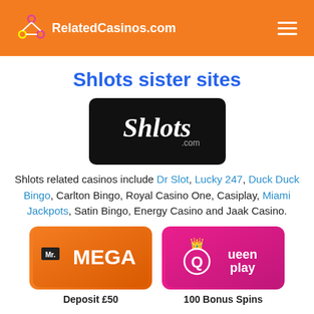RelatedCasinos.com
Shlots sister sites
[Figure (logo): Shlots.com logo on black background with rounded corners]
Shlots related casinos include Dr Slot, Lucky 247, Duck Duck Bingo, Carlton Bingo, Royal Casino One, Casiplay, Miami Jackpots, Satin Bingo, Energy Casino and Jaak Casino.
[Figure (logo): Mr. MEGA casino logo on orange gradient background]
[Figure (logo): Queen Play casino logo on pink/magenta gradient background]
Deposit £50
100 Bonus Spins